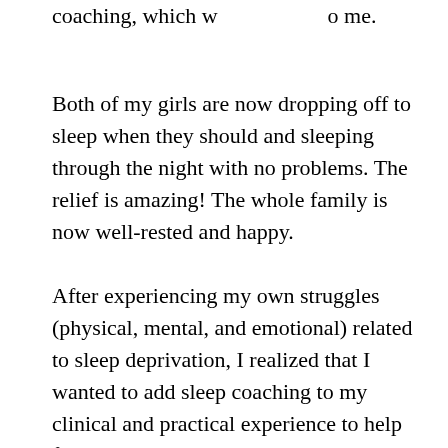coaching, which w[as offered] to me.
Both of my girls are now dropping off to sleep when they should and sleeping through the night with no problems. The relief is amazing! The whole family is now well-rested and happy.
After experiencing my own struggles (physical, mental, and emotional) related to sleep deprivation, I realized that I wanted to add sleep coaching to my clinical and practical experience to help families get the best sleep and overall well-being they deserve, so with this goal in mind, I completed my Gentle Sleep Coach training.